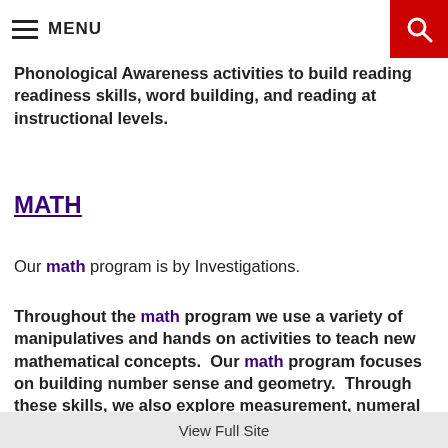MENU
Phonological Awareness activities to build reading readiness skills, word building, and reading at instructional levels.
MATH
Our math program is by Investigations.
Throughout the math program we use a variety of manipulatives and hands on activities to teach new mathematical concepts.  Our math program focuses on building number sense and geometry.  Through these skills, we also explore measurement, numeral
View Full Site